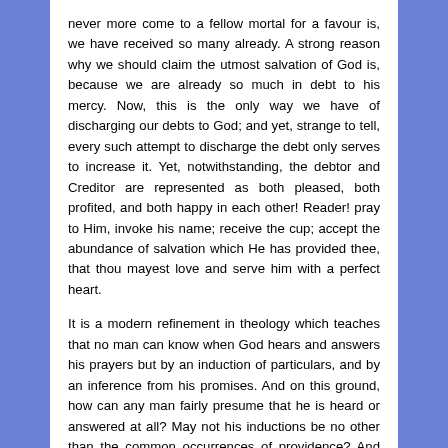never more come to a fellow mortal for a favour is, we have received so many already. A strong reason why we should claim the utmost salvation of God is, because we are already so much in debt to his mercy. Now, this is the only way we have of discharging our debts to God; and yet, strange to tell, every such attempt to discharge the debt only serves to increase it. Yet, notwithstanding, the debtor and Creditor are represented as both pleased, both profited, and both happy in each other! Reader! pray to Him, invoke his name; receive the cup; accept the abundance of salvation which He has provided thee, that thou mayest love and serve him with a perfect heart.
It is a modern refinement in theology which teaches that no man can know when God hears and answers his prayers but by an induction of particulars, and by an inference from his promises. And on this ground, how can any man fairly presume that he is heard or answered at all? May not his inductions be no other than the common occurrences of providence? And may not providence be no more than the necessary occurrence of events? And is it not possible that, on this skeptic ground, there is no God to hear or answer? True religion knows